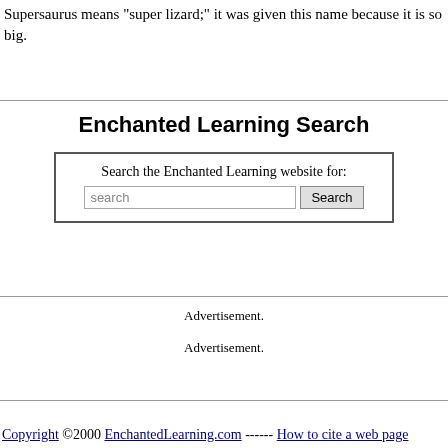Supersaurus means "super lizard;" it was given this name because it is so big.
Enchanted Learning Search
Search the Enchanted Learning website for:
Advertisement.
Advertisement.
Copyright ©2000 EnchantedLearning.com ------ How to cite a web page